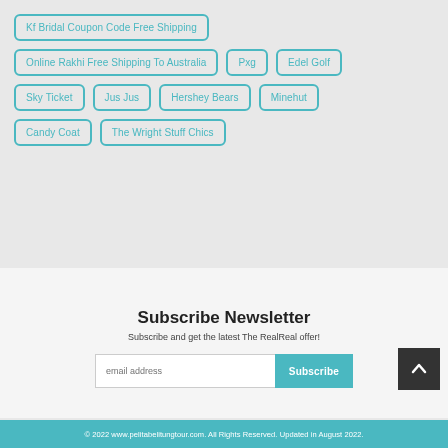Kf Bridal Coupon Code Free Shipping
Online Rakhi Free Shipping To Australia
Pxg
Edel Golf
Sky Ticket
Jus Jus
Hershey Bears
Minehut
Candy Coat
The Wright Stuff Chics
Subscribe Newsletter
Subscribe and get the latest The RealReal offer!
© 2022 www.pelitabelitungtour.com. All Rights Reserved. Updated in August 2022.